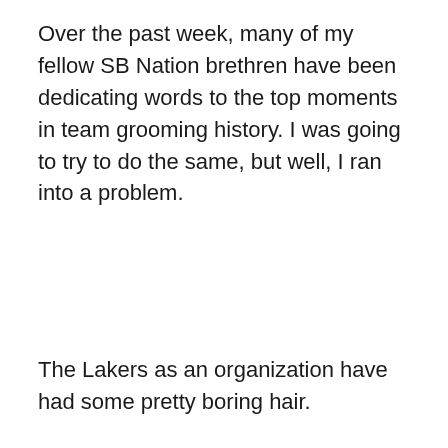Over the past week, many of my fellow SB Nation brethren have been dedicating words to the top moments in team grooming history. I was going to try to do the same, but well, I ran into a problem.
The Lakers as an organization have had some pretty boring hair.